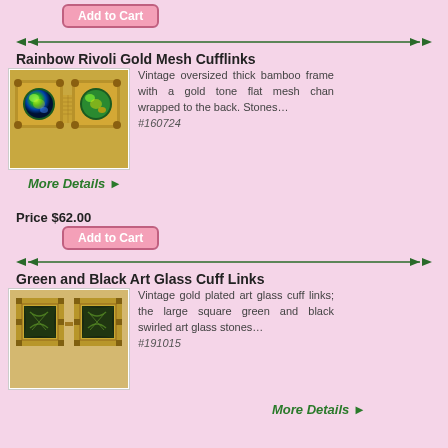Add to Cart
[Figure (illustration): Decorative green arrow divider line]
Rainbow Rivoli Gold Mesh Cufflinks
[Figure (photo): Photo of Rainbow Rivoli Gold Mesh Cufflinks – two gold bamboo-frame cufflinks with large iridescent green/rainbow rivoli stones and gold mesh chain back]
Vintage oversized thick bamboo frame with a gold tone flat mesh chan wrapped to the back. Stones… #160724
More Details ▶
Price $62.00
Add to Cart
[Figure (illustration): Decorative green arrow divider line]
Green and Black Art Glass Cuff Links
[Figure (photo): Photo of Green and Black Art Glass Cuff Links – two square gold-framed cufflinks with large green and black swirled art glass stones]
Vintage gold plated art glass cuff links; the large square green and black swirled art glass stones… #191015
More Details ▶